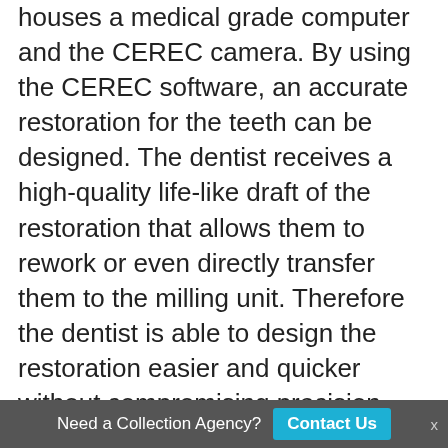houses a medical grade computer and the CEREC camera. By using the CEREC software, an accurate restoration for the teeth can be designed. The dentist receives a high-quality life-like draft of the restoration that allows them to rework or even directly transfer them to the milling unit. Therefore the dentist is able to design the restoration easier and quicker without compromising precision and aesthetics.
The milling process: Following the design process, the dentist simply fabricates the restoration by placing a ceramic block in the milling unit. The CEREC software and the milling unit work closely with each other. Even the smallest fissures or alterations are worked perfectly by the
Need a Collection Agency?  Contact Us  x